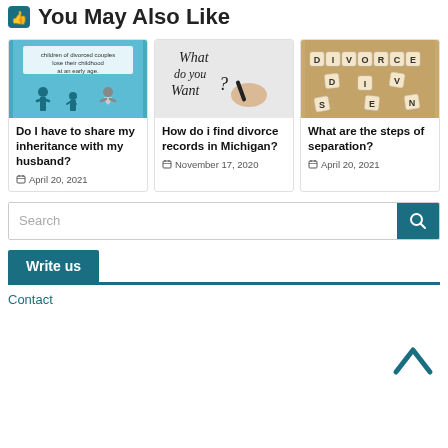You May Also Like
[Figure (photo): Illustration of divorced couple with child; text: children of divorced couples lose their childhood at an early age.]
Do I have to share my inheritance with my husband?
April 20, 2021
[Figure (photo): Handwritten text on whiteboard: What do you Want?]
How do i find divorce records in Michigan?
November 17, 2020
[Figure (photo): Scrabble tiles spelling DIVORCE on wooden surface]
What are the steps of separation?
April 20, 2021
Search
Write us
Contact